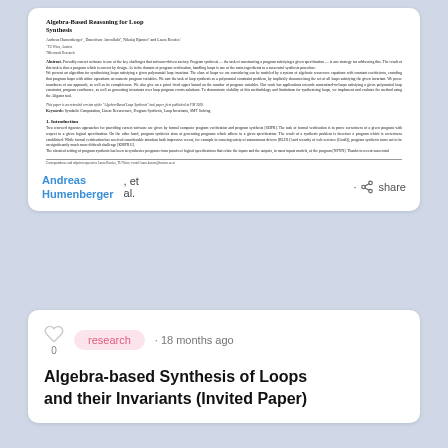[Figure (screenshot): Screenshot of academic paper preview card showing title 'Algebra-Based Reasoning for Loop Synthesis', authors, abstract, and introduction section]
Andreas Humenberger
, et al.
· share
research · 18 months ago
Algebra-based Synthesis of Loops and their Invariants (Invited Paper)